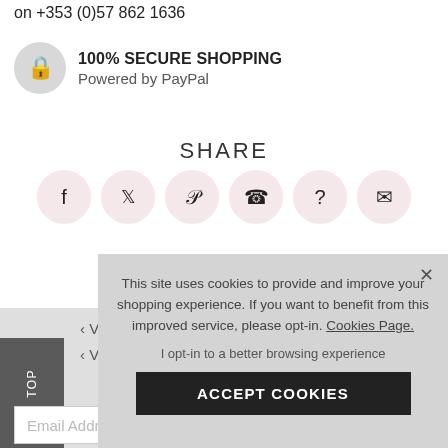on +353 (0)57 862 1636
100% SECURE SHOPPING
Powered by PayPal
SHARE
[Figure (infographic): Six social share icon buttons in pink circles: Facebook (f), Twitter (bird), Pinterest (p), WhatsApp (phone), question mark, and email envelope]
< View Al
J
Email Addre
This site uses cookies to provide and improve your shopping experience. If you want to benefit from this improved service, please opt-in. Cookies Page.
I opt-in to a better browsing experience
ACCEPT COOKIES